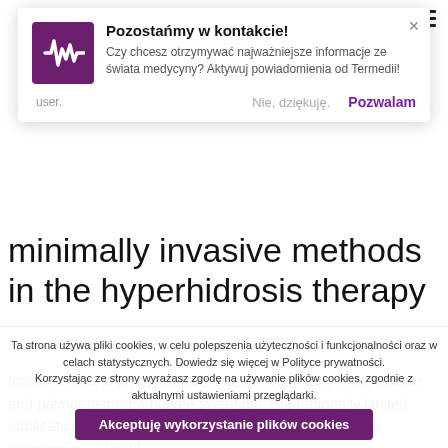[Figure (screenshot): Website notification popup: purple logo with waveform icon, title 'Pozostańmy w kontakcie!', description text about receiving medical news from Termedia, with close button, 'user.' label, 'Nie, dziękuję.' and 'Pozwalam' buttons]
minimally invasive methods in the hyperhidrosis therapy
Iontophoresis is a widespread first-line treatment of the plantar and palmar disproportionate sweating. The regionally limited application arises from the requirement of the intact skin submersion in liquid,
Ta strona używa pliki cookies, w celu polepszenia użyteczności i funkcjonalności oraz w celach statystycznych. Dowiedz się więcej w Polityce prywatności.
Korzystając ze strony wyrażasz zgodę na używanie plików cookies, zgodnie z aktualnymi ustawieniami przeglądarki.
Akceptuję wykorzystanie plików cookies